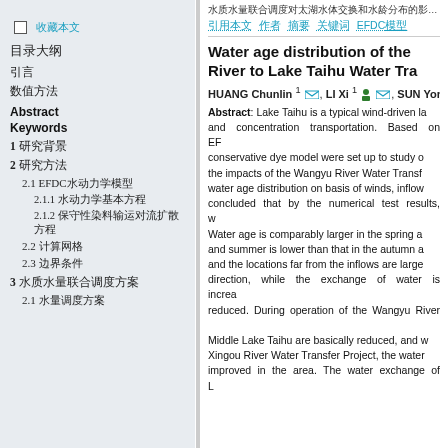水质水量联合调度对太湖水体交换和水龄分布的影响研究.基于EFDC模型的太湖流场和浓度输运模拟
引用本文 作者 摘要 关键词 EFDC模型
收藏
目录大纲
引言
数值方法
Abstract
Keywords
1 研究背景
2 研究方法
2.1 EFDC水动力学模型
2.1.1 水动力学基本方程
2.1.2 保守性染料输运对流扩散方程
2.2 计算网格
2.3 边界条件
3 水质水量联合调度方案
2.1 水量调度方案
Water age distribution of the River to Lake Taihu Water Transfer
HUANG Chunlin 1, LI Xi 1, SUN Yong
Abstract: Lake Taihu is a typical wind-driven lake with complex flow and concentration transportation. Based on EFDC model, a hydrodynamic and conservative dye model were set up to study on the impacts of the Wangyu River Water Transfer on water age distribution on basis of winds, inflows. It concluded that by the numerical test results, water age in spring and summer is lower than that in the autumn and winter and the locations far from the inflows are larger in direction, while the exchange of water is increased and reduced. During operation of the Wangyu River Water Transfer, Middle Lake Taihu are basically reduced, and with Xingou River Water Transfer Project, the water improved in the area. The water exchange improved in the area.